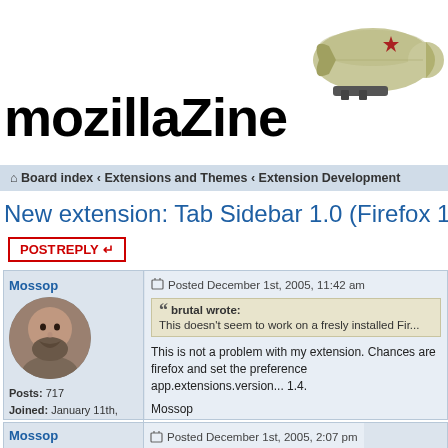mozillaZine
[Figure (illustration): Illustrated blimp/zeppelin with a red star, in olive/khaki colors, facing right]
Board index ‹ Extensions and Themes ‹ Extension Development
New extension: Tab Sidebar 1.0 (Firefox 1.5b1 u...
POST REPLY
Mossop
Posted December 1st, 2005, 11:42 am
brutal wrote: This doesn't seem to work on a fresly installed Fir...
This is not a problem with my extension. Chances are firefox and set the preference app.extensions.version... 1.4.

Mossop
Mossop
Posted December 1st, 2005, 2:07 pm